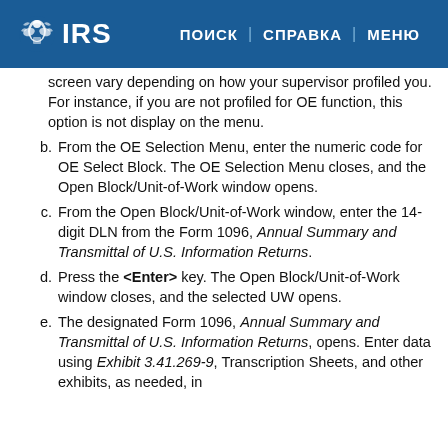IRS | ПОИСК | СПРАВКА | МЕНЮ
screen vary depending on how your supervisor profiled you. For instance, if you are not profiled for OE function, this option is not display on the menu.
b. From the OE Selection Menu, enter the numeric code for OE Select Block. The OE Selection Menu closes, and the Open Block/Unit-of-Work window opens.
c. From the Open Block/Unit-of-Work window, enter the 14-digit DLN from the Form 1096, Annual Summary and Transmittal of U.S. Information Returns.
d. Press the <Enter> key. The Open Block/Unit-of-Work window closes, and the selected UW opens.
e. The designated Form 1096, Annual Summary and Transmittal of U.S. Information Returns, opens. Enter data using Exhibit 3.41.269-9, Transcription Sheets, and other exhibits, as needed, in